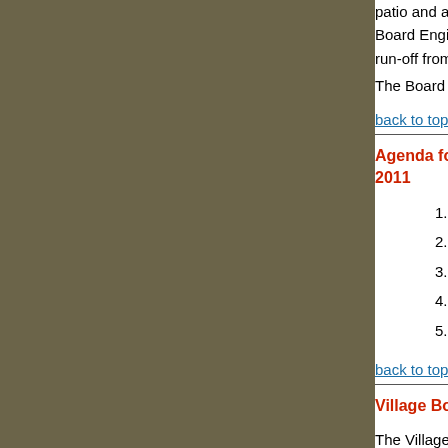patio and a sample of the copper gutter material. Board Engineer Carl Stone asked some questions about run-off from the property. The Board then voted unanimously to approve M...
back to top
Agenda for Village Board of Architectural ... 2011
1. Parr - 174 East Lake Rd. - Driveway Gate...
2. Voldstad - 52 Turtle Mtn. Rd. - Tree remo...
3. Tuxedo Club - 1 West Lake Rd. - Boatho...
4. Biagioni - 35 West Lake Stable Rd. - Pai...
5. Neuhauser - 4 Stable Rd. - Copper Gutte...
back to top
Village Board of Architectural Review Mee...
The Village Board of Architectural Review met o... member Susan Boyle was absent. Consulting ar...
Chair Paola Tocci began the meeting by welcom... Donahey. As the owner of a construction manage...